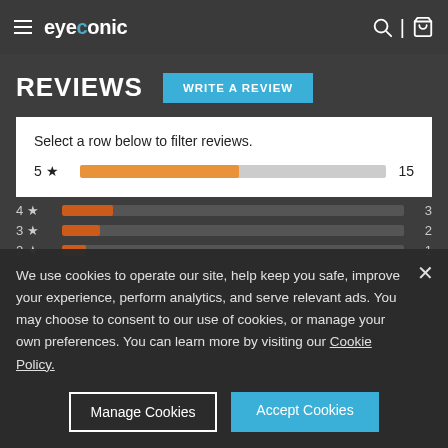eyeconic — navigation bar with hamburger menu, search, and cart icons
REVIEWS
WRITE A REVIEW
Select a row below to filter reviews.
5★  [bar]  15
4★  [bar]  3
3★  [bar]  2
2★  [bar]  1
We use cookies to operate our site, help keep you safe, improve your experience, perform analytics, and serve relevant ads. You may choose to consent to our use of cookies, or manage your own preferences. You can learn more by visiting our Cookie Policy.
Manage Cookies
Accept Cookies